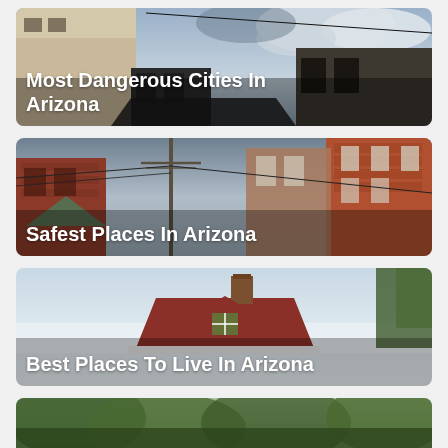[Figure (photo): Street scene with buildings and cloudy sky, overlaid with text 'Most Dangerous Cities In Arizona']
[Figure (photo): Street scene with brick buildings and power lines, overlaid with text 'Safest Places In Arizona']
[Figure (photo): Red house with chimney and trees in background, overlaid with text 'Best Places To Live In Arizona']
[Figure (photo): Partial photo of trees and foliage at the bottom of the page]